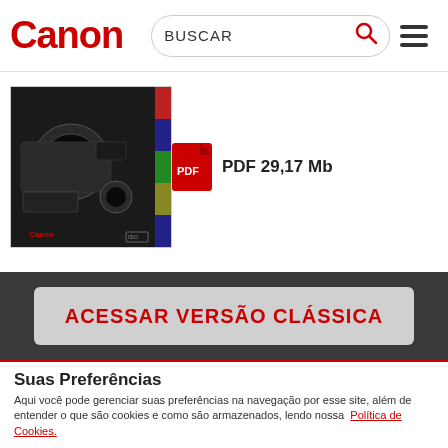[Figure (logo): Canon logo in red bold text]
[Figure (screenshot): Search box with BUSCAR text and red search icon, plus hamburger menu icon]
[Figure (photo): Canon professional broadcast cameras and lenses product image with color strip on right side]
PDF 29,17 Mb
ACESSAR VERSÃO CLÁSSICA
Suas Preferências
Aqui você pode gerenciar suas preferências na navegação por esse site, além de entender o que são cookies e como são armazenados, lendo nossa  Política de Cookies.
Definições de cookies
Aceitar todos os cookies